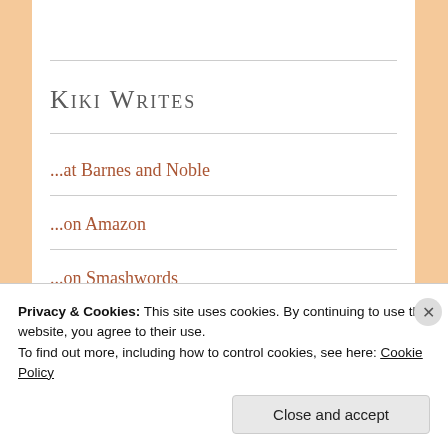Kiki Writes
...at Barnes and Noble
...on Amazon
...on Smashwords
Privacy & Cookies: This site uses cookies. By continuing to use this website, you agree to their use.
To find out more, including how to control cookies, see here: Cookie Policy
Close and accept